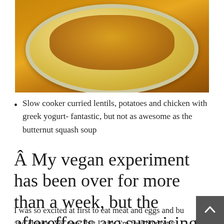[Figure (photo): Food photo showing a plate with curried lentils, potatoes and chicken with greek yogurt, in a white/cream oval dish on a brown table surface]
Slow cooker curried lentils, potatoes and chicken with greek yogurt- fantastic, but not as awesome as the butternut squash soup
Â My vegan experiment has been over for more than a week, but the aftereffects are surprising.
I was so excited at first to eat meat and eggs and bu and cheese. Yet now that I can, I'm feeling pretty